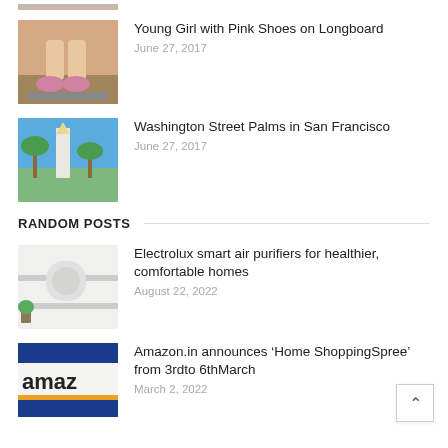[Figure (photo): Partial thumbnail at top (cropped, partially visible)]
[Figure (photo): Young girl sitting on longboard with pink shoes]
Young Girl with Pink Shoes on Longboard
June 27, 2017
[Figure (photo): Washington Street with palm trees in San Francisco]
Washington Street Palms in San Francisco
June 27, 2017
RANDOM POSTS
[Figure (photo): Electrolux smart air purifier on wall in home]
Electrolux smart air purifiers for healthier, comfortable homes
August 22, 2022
[Figure (photo): Amazon.in logo sign]
Amazon.in announces ‘Home ShoppingSpree’ from 3rdto 6thMarch
March 2, 2022